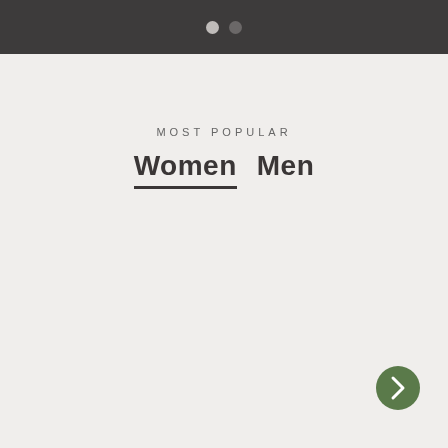navigation dots indicator
MOST POPULAR
Women   Men
[Figure (other): Green circular next/arrow navigation button with white chevron pointing right, positioned at bottom-right of content area]